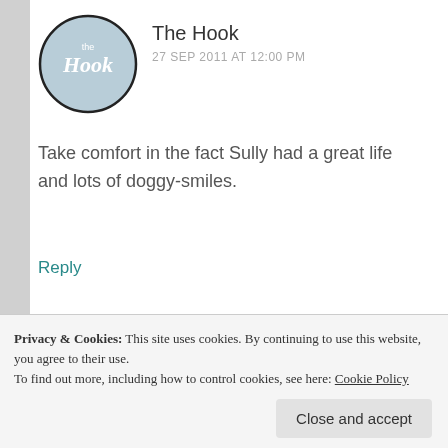The Hook
27 SEP 2011 AT 12:00 PM
Take comfort in the fact Sully had a great life and lots of doggy-smiles.
Reply
pissykittyslitterbox.com
28 SEP 2011 AT 10:12 AM
Privacy & Cookies: This site uses cookies. By continuing to use this website, you agree to their use. To find out more, including how to control cookies, see here: Cookie Policy
Close and accept